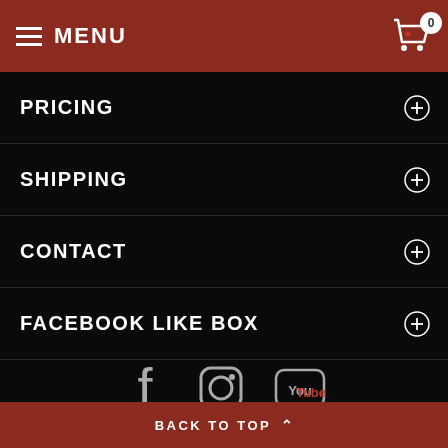MENU
PRICING
SHIPPING
CONTACT
FACEBOOK LIKE BOX
[Figure (other): Social media icons: Facebook, Instagram, YouTube]
JONSESPEEDLAB © 2018 . All Rights Reserved.
BACK TO TOP ^